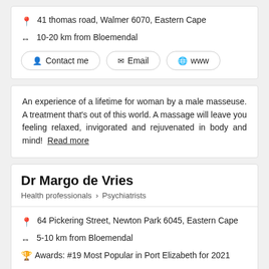41 thomas road, Walmer 6070, Eastern Cape
10-20 km from Bloemendal
Contact me | Email | www
An experience of a lifetime for woman by a male masseuse. A treatment that's out of this world. A massage will leave you feeling relaxed, invigorated and rejuvenated in body and mind! Read more
Dr Margo de Vries
Health professionals > Psychiatrists
64 Pickering Street, Newton Park 6045, Eastern Cape
5-10 km from Bloemendal
Awards: #19 Most Popular in Port Elizabeth for 2021
Contact me | Email